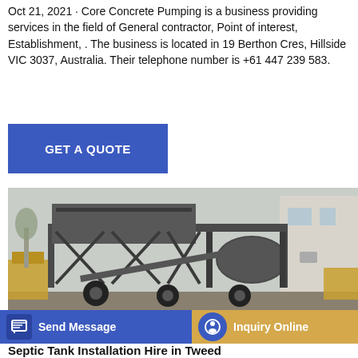Oct 21, 2021 · Core Concrete Pumping is a business providing services in the field of General contractor, Point of interest, Establishment, . The business is located in 19 Berthon Cres, Hillside VIC 3037, Australia. Their telephone number is +61 447 239 583.
[Figure (other): Blue button with text GET A QUOTE]
[Figure (photo): Photo of a large mobile concrete mixing plant/machinery on wheels, dark gray metal frame structure with a cylindrical drum, parked outdoors near a building. Yellow construction equipment visible on the sides.]
[Figure (other): Bottom bar with Send Message (blue) and Inquiry Online (golden) buttons]
Septic Tank Installation Hire in Tweed